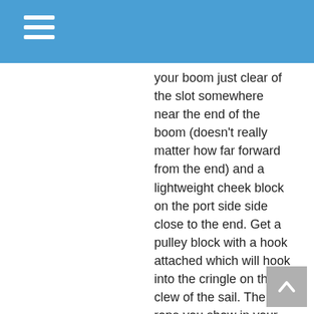your boom just clear of the slot somewhere near the end of the boom (doesn't really matter how far forward from the end) and a lightweight cheek block on the port side side close to the end. Get a pulley block with a hook attached which will hook into the cringle on the clew of the sail. The rope you show in your photograph should be tied to the lacing eye, pass forward around the hook-block (which will be hooked onto the